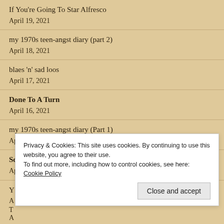If You're Going To Star Alfresco
April 19, 2021
my 1970s teen-angst diary (part 2)
April 18, 2021
blaes 'n' sad loos
April 17, 2021
Done To A Turn
April 16, 2021
my 1970s teen-angst diary (Part 1)
April 15, 2021
School Bands and Laughing in the Face of Danger
April 14, 2021
Privacy & Cookies: This site uses cookies. By continuing to use this website, you agree to their use.
To find out more, including how to control cookies, see here: Cookie Policy
Close and accept
future schlock